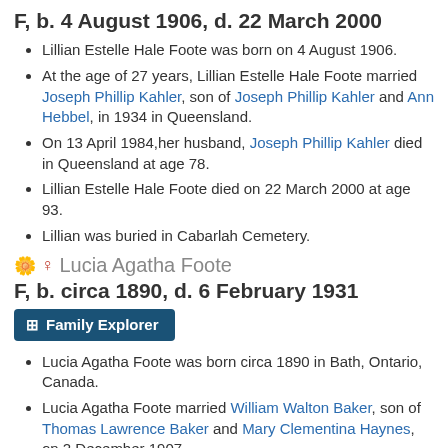F, b. 4 August 1906, d. 22 March 2000
Lillian Estelle Hale Foote was born on 4 August 1906.
At the age of 27 years, Lillian Estelle Hale Foote married Joseph Phillip Kahler, son of Joseph Phillip Kahler and Ann Hebbel, in 1934 in Queensland.
On 13 April 1984,her husband, Joseph Phillip Kahler died in Queensland at age 78.
Lillian Estelle Hale Foote died on 22 March 2000 at age 93.
Lillian was buried in Cabarlah Cemetery.
Lucia Agatha Foote
F, b. circa 1890, d. 6 February 1931
Family Explorer
Lucia Agatha Foote was born circa 1890 in Bath, Ontario, Canada.
Lucia Agatha Foote married William Walton Baker, son of Thomas Lawrence Baker and Mary Clementina Haynes, on 2 December 1907.
Lucia Agatha Foote died on 6 February 1931.